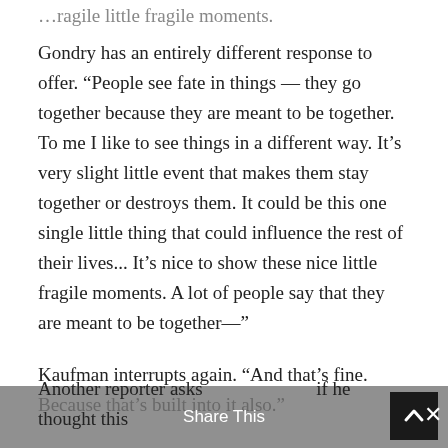…ragile little fragile moments.
Gondry has an entirely different response to offer. “People see fate in things — they go together because they are meant to be together. To me I like to see things in a different way. It’s very slight little event that makes them stay together or destroys them. It could be this one single little thing that could influence the rest of their lives... It’s nice to show these nice little fragile moments. A lot of people say that they are meant to be together—”
Kaufman interrupts again. “And that’s fine. Because that’s built into it also.”
Another reporter asks Share This an if he thought this
Share This ×